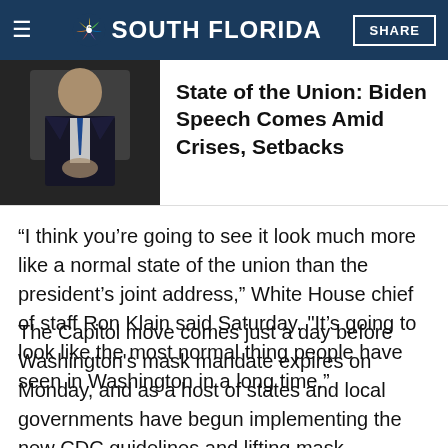NBC 6 SOUTH FLORIDA
[Figure (photo): Person in suit speaking, appears to be at a podium or event]
State of the Union: Biden Speech Comes Amid Crises, Setbacks
“I think you’re going to see it look much more like a normal state of the union than the president’s joint address,” White House chief of staff Ron Klain said Saturday. "It’s going to look like the most normal thing people have seen in Washington in a long time.”
The Capitol move comes just a day before Washington's mask mandate expires on Monday, and as a host of states and local governments have begun implementing the new CDC guidelines and lifting mask-mandates indoors and in schools.